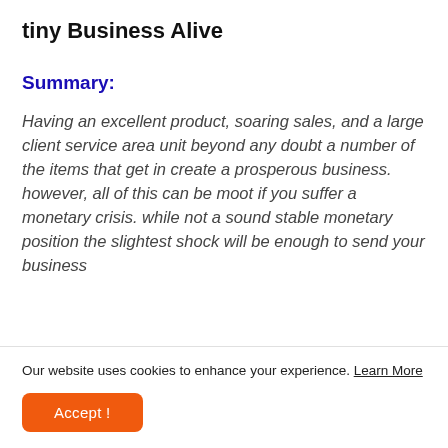tiny Business Alive
Summary:
Having an excellent product, soaring sales, and a large client service area unit beyond any doubt a number of the items that get in create a prosperous business. however, all of this can be moot if you suffer a monetary crisis. while not a sound stable monetary position the slightest shock will be enough to send your business
Our website uses cookies to enhance your experience. Learn More
Accept!